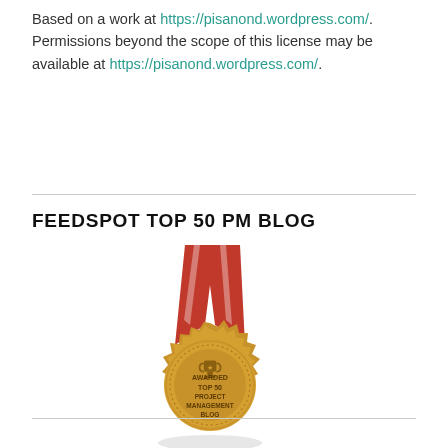Based on a work at https://pisanond.wordpress.com/. Permissions beyond the scope of this license may be available at https://pisanond.wordpress.com/.
FEEDSPOT TOP 50 PM BLOG
[Figure (illustration): A gold award medal with a red and white ribbon at the top, featuring a gear-shaped border and text reading: AWARDED TOP 50 PROJECT MANAGEMENT BLOG, with a trophy icon at the top center. A subtle shadow appears below the medal.]